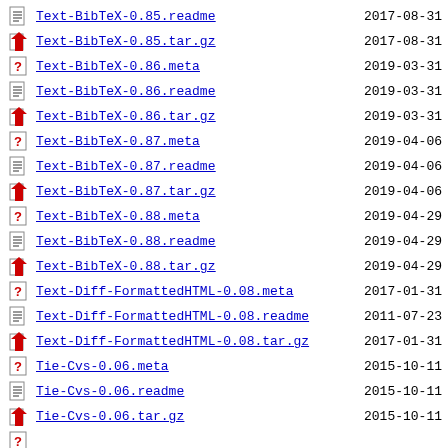Text-BibTeX-0.85.readme  2017-08-31
Text-BibTeX-0.85.tar.gz  2017-08-31
Text-BibTeX-0.86.meta  2019-03-31
Text-BibTeX-0.86.readme  2019-03-31
Text-BibTeX-0.86.tar.gz  2019-03-31
Text-BibTeX-0.87.meta  2019-04-06
Text-BibTeX-0.87.readme  2019-04-06
Text-BibTeX-0.87.tar.gz  2019-04-06
Text-BibTeX-0.88.meta  2019-04-29
Text-BibTeX-0.88.readme  2019-04-29
Text-BibTeX-0.88.tar.gz  2019-04-29
Text-Diff-FormattedHTML-0.08.meta  2017-01-31
Text-Diff-FormattedHTML-0.08.readme  2011-07-23
Text-Diff-FormattedHTML-0.08.tar.gz  2017-01-31
Tie-Cvs-0.06.meta  2015-10-11
Tie-Cvs-0.06.readme  2015-10-11
Tie-Cvs-0.06.tar.gz  2015-10-11